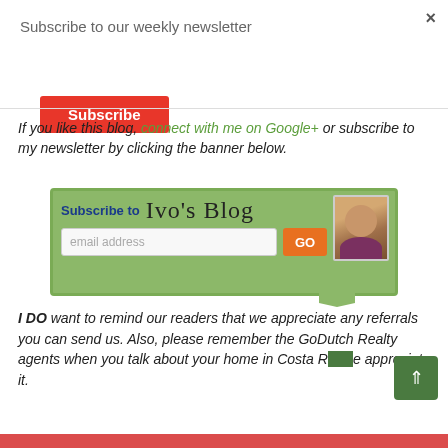×
Subscribe to our weekly newsletter
Subscribe
If you like this blog, connect with me on Google+ or subscribe to my newsletter by clicking the banner below.
[Figure (other): Green blog subscription banner reading 'Subscribe to Ivo's Blog' with an email address input field, an orange GO button, and a photo of a man on the right side.]
I DO want to remind our readers that we appreciate any referrals you can send us. Also, please remember the GoDutch Realty agents when you talk about your home in Costa Rica we appreciate it.